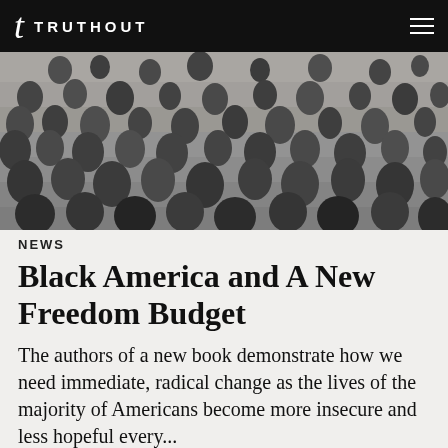t TRUTHOUT
[Figure (photo): Black and white photograph of a large crowd of people gathered on tiered steps, appearing to be at a civil rights era rally or demonstration.]
NEWS
Black America and A New Freedom Budget
The authors of a new book demonstrate how we need immediate, radical change as the lives of the majority of Americans become more insecure and less hopeful every...
by Paul Le Blanc & Michael D. Yates, TRUTHOUT